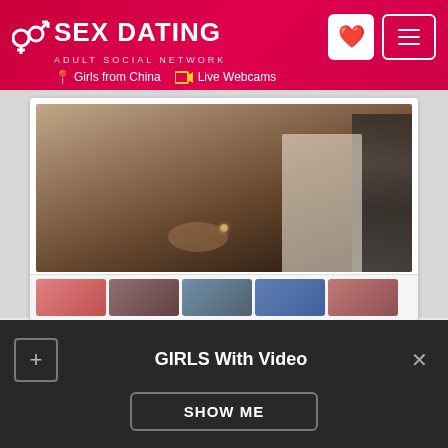SEX DATING ADULT SOCIAL NETWORK | Girls from China | Live Webcams
[Figure (photo): Photo of person's bare midsection with belly button piercing, wearing dark pants]
[Figure (photo): Thumbnail strip showing 5 small profile/person photos]
GIRLS With Video
SHOW ME